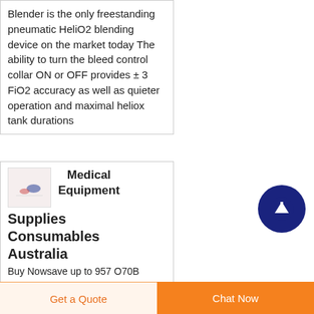Blender is the only freestanding pneumatic HeliO2 blending device on the market today The ability to turn the bleed control collar ON or OFF provides ± 3 FiO2 accuracy as well as quieter operation and maximal heliox tank durations
[Figure (photo): Small thumbnail image of medical equipment/supplies, pinkish-white background with small blue medical device visible]
Medical Equipment Supplies Consumables Australia
Buy Nowsave up to 957 O70B
Get a Quote
Chat Now